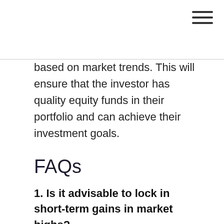based on market trends. This will ensure that the investor has quality equity funds in their portfolio and can achieve their investment goals.
FAQs
1. Is it advisable to lock in short-term gains in market highs?
A. During market highs, most equity funds will rally with the market and provide good returns. This is the right time to cash in on funds that have generated lower returns and invest in good quality equity funds that will help in generating future returns. Investors should, however, be cautious of not redeeming good quality equity funds that can